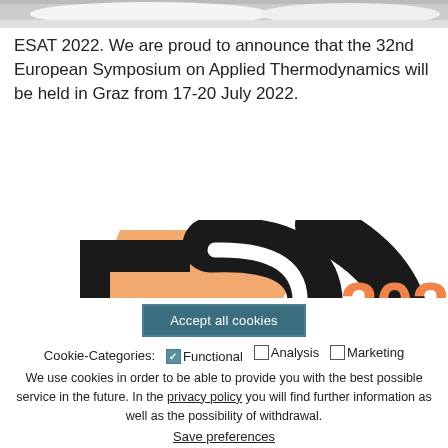[Figure (photo): Partial top edge of a photo, likely showing shoes or feet, cropped at top of page]
ESAT 2022. We are proud to announce that the 32nd European Symposium on Applied Thermodynamics will be held in Graz from 17-20 July 2022.
[Figure (logo): ESAT 2022 logo showing large bold letters 'ES' in black with an orange diagonal background element, partial view of the logo, with '202' in orange text on the right]
Accept all cookies
Cookie-Categories: ☑ Functional ☐ Analysis ☐ Marketing We use cookies in order to be able to provide you with the best possible service in the future. In the privacy policy you will find further information as well as the possibility of withdrawal.
Save preferences